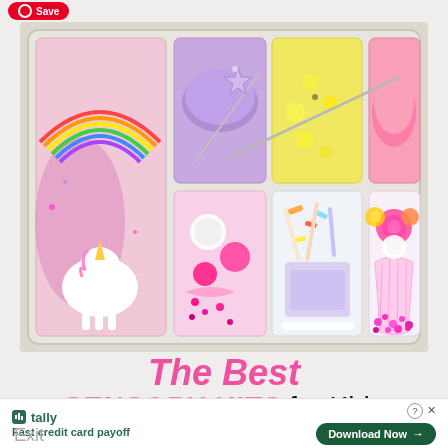[Figure (photo): A plastic compartment box containing colorful sensory play items: unicorns, rainbows, glitter foam, purple clay with a star wand, yellow glitter slime, pink clay, pink pom poms, beads, confetti, and a cupcake cup with flowers and beads.]
The Best SENSORY KITS for Kids
tally - Fast credit card payoff
Download Now →